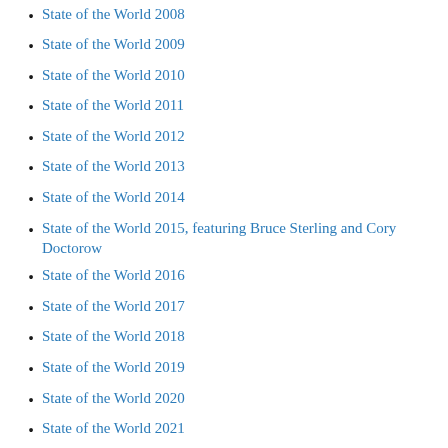State of the World 2008
State of the World 2009
State of the World 2010
State of the World 2011
State of the World 2012
State of the World 2013
State of the World 2014
State of the World 2015, featuring Bruce Sterling and Cory Doctorow
State of the World 2016
State of the World 2017
State of the World 2018
State of the World 2019
State of the World 2020
State of the World 2021